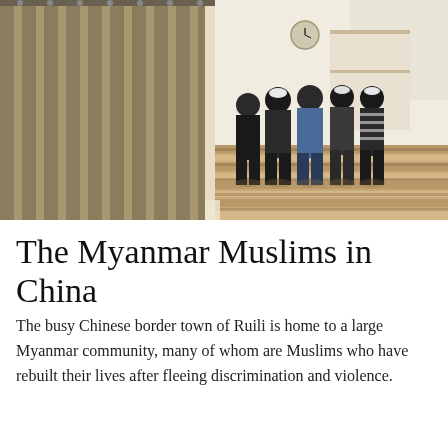[Figure (photo): Interior of a mosque or prayer room. On the left, an olive/khaki striped curtain hangs from ceiling to floor. On the right, several men stand with their backs to the camera, praying in a row on a wooden striped floor. A clock and shelves are visible on the far wall. The room has white walls and curtained windows letting in natural light.]
The Myanmar Muslims in China
The busy Chinese border town of Ruili is home to a large Myanmar community, many of whom are Muslims who have rebuilt their lives after fleeing discrimination and violence.